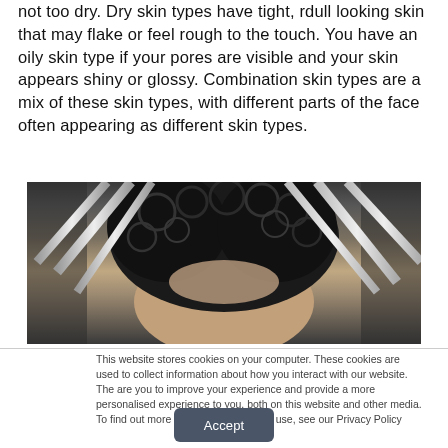not too dry. Dry skin types have tight, rdull looking skin that may flake or feel rough to the touch. You have an oily skin type if your pores are visible and your skin appears shiny or glossy. Combination skin types are a mix of these skin types, with different parts of the face often appearing as different skin types.
[Figure (photo): A partially visible photograph showing the top of a person's head with dark curly hair, along with metallic bar structures in the background. Only the top portion of the face/head is visible.]
This website stores cookies on your computer. These cookies are used to collect information about how you interact with our website. The are you to improve your experience and provide a more personalised experience to you, both on this website and other media. To find out more about the cookies we use, see our Privacy Policy
Accept